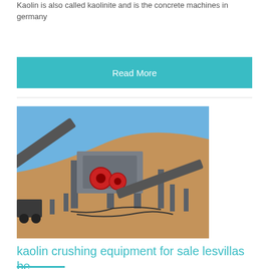Kaolin is also called kaolinite and is the concrete machines in germany
Read More
[Figure (photo): Industrial crushing/screening machine with conveyor belts set against a sandy hill and blue sky]
kaolin crushing equipment for sale lesvillas be